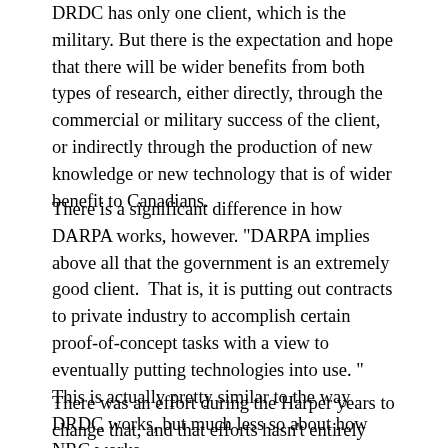DRDC has only one client, which is the military. But there is the expectation and hope that there will be wider benefits from both types of research, either directly, through the commercial or military success of the client, or indirectly through the production of new knowledge or new technology that is of wider benefit to Canadians.
There is a significant difference in how DARPA works, however. "DARPA implies above all that the government is an extremely good client.  That is, it is putting out contracts to private industry to accomplish certain proof-of-concept tasks with a view to eventually putting technologies into use. " This is actually pretty similar to the way DRDC works, but much less so about how NRC works.
There was an effort during the Harper years to change that, and that efforts hasn't entirely disappeared. Both